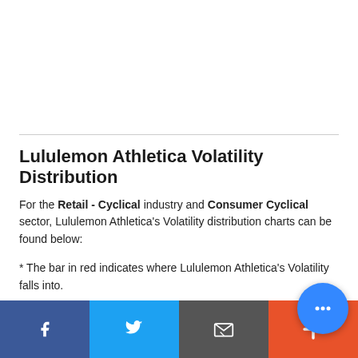Lululemon Athletica Volatility Distribution
For the Retail - Cyclical industry and Consumer Cyclical sector, Lululemon Athletica's Volatility distribution charts can be found below:
* The bar in red indicates where Lululemon Athletica's Volatility falls into.